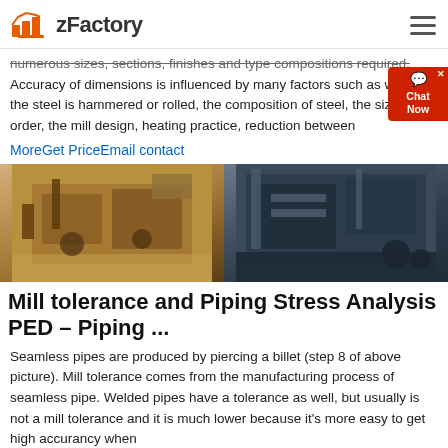zFactory
numerous sizes, sections, finishes and type compositions required. Accuracy of dimensions is influenced by many factors such as whether the steel is hammered or rolled, the composition of steel, the size of the order, the mill design, heating practice, reduction between
MoreGet PriceEmail contact
[Figure (photo): Two industrial mining/crushing machines side by side. Left: tan/beige colored heavy mining equipment in a desert setting. Right: dark blue/grey large rock crushing machinery.]
Mill tolerance and Piping Stress Analysis PED – Piping ...
Seamless pipes are produced by piercing a billet (step 8 of above picture). Mill tolerance comes from the manufacturing process of seamless pipe. Welded pipes have a tolerance as well, but usually is not a mill tolerance and it is much lower because it's more easy to get high accurancy when